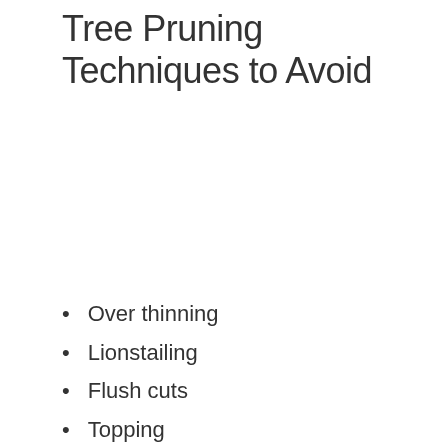Tree Pruning Techniques to Avoid
Over thinning
Lionstailing
Flush cuts
Topping
Over lifting